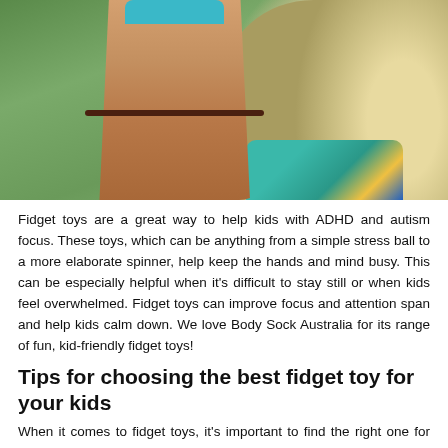[Figure (photo): A child's arm holding a blue fidget toy against a blurred outdoor background, with long blonde hair and teal/colorful shirt visible]
Fidget toys are a great way to help kids with ADHD and autism focus. These toys, which can be anything from a simple stress ball to a more elaborate spinner, help keep the hands and mind busy. This can be especially helpful when it's difficult to stay still or when kids feel overwhelmed. Fidget toys can improve focus and attention span and help kids calm down. We love Body Sock Australia for its range of fun, kid-friendly fidget toys!
Tips for choosing the best fidget toy for your kids
When it comes to fidget toys, it's important to find the right one for your child. Not all fidget toys are created equal, and some work better for certain kids than others. Here are a few tips for